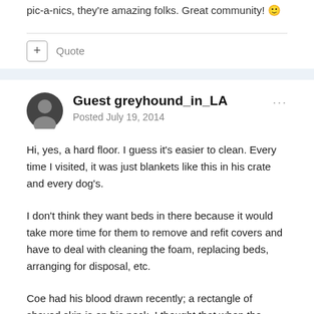pic-a-nics, they're amazing folks. Great community! 🙂
Quote
Guest greyhound_in_LA
Posted July 19, 2014
Hi, yes, a hard floor. I guess it's easier to clean. Every time I visited, it was just blankets like this in his crate and every dog's.
I don't think they want beds in there because it would take more time for them to remove and refit covers and have to deal with cleaning the foam, replacing beds, arranging for disposal, etc.
Coe had his blood drawn recently; a rectangle of shaved skin is on his neck. I thought that when the greys were done, they were...